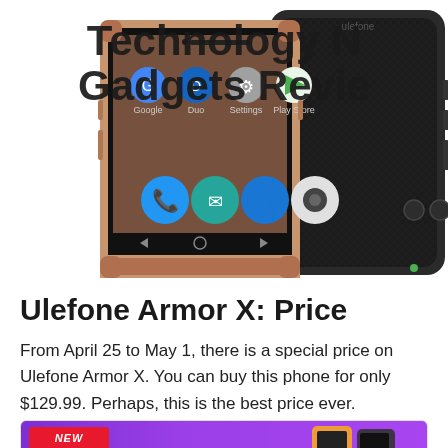[Figure (photo): Ulefone Armor X rugged smartphone showing Android home screen with app icons, overlaid by website header text reading 'Technology News and Gadgets Review']
Ulefone Armor X: Price
From April 25 to May 1, there is a special price on Ulefone Armor X. You can buy this phone for only $129.99. Perhaps, this is the best price ever.
[Figure (photo): Flash sale banner with purple background, red NEW badge, FLASH SALE label, and Ulefone Armor X phone images. Partially visible at bottom of page.]